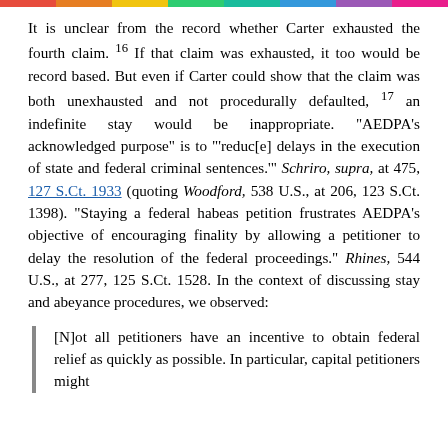It is unclear from the record whether Carter exhausted the fourth claim. 16 If that claim was exhausted, it too would be record based. But even if Carter could show that the claim was both unexhausted and not procedurally defaulted, 17 an indefinite stay would be inappropriate. "AEDPA's acknowledged purpose" is to "'reduc[e] delays in the execution of state and federal criminal sentences.'" Schriro, supra, at 475, 127 S.Ct. 1933 (quoting Woodford, 538 U.S., at 206, 123 S.Ct. 1398). "Staying a federal habeas petition frustrates AEDPA's objective of encouraging finality by allowing a petitioner to delay the resolution of the federal proceedings." Rhines, 544 U.S., at 277, 125 S.Ct. 1528. In the context of discussing stay and abeyance procedures, we observed:
[N]ot all petitioners have an incentive to obtain federal relief as quickly as possible. In particular, capital petitioners might